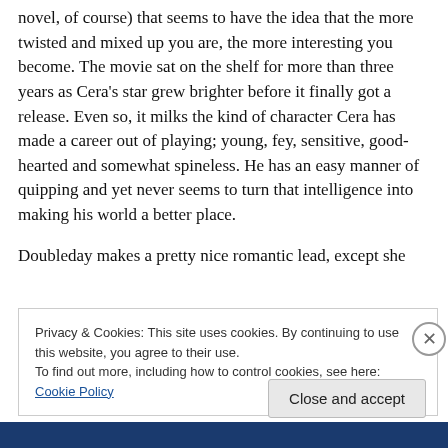novel, of course) that seems to have the idea that the more twisted and mixed up you are, the more interesting you become. The movie sat on the shelf for more than three years as Cera's star grew brighter before it finally got a release. Even so, it milks the kind of character Cera has made a career out of playing; young, fey, sensitive, good-hearted and somewhat spineless. He has an easy manner of quipping and yet never seems to turn that intelligence into making his world a better place.
Doubleday makes a pretty nice romantic lead, except she
Privacy & Cookies: This site uses cookies. By continuing to use this website, you agree to their use.
To find out more, including how to control cookies, see here: Cookie Policy